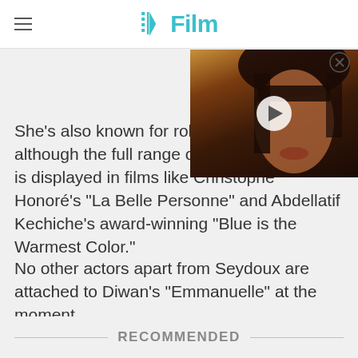/Film
[Figure (photo): A close-up photo of a dark-haired woman with bangs, lit by warm golden light, with a video play button overlay — a thumbnail for an embedded video player.]
She's also known for roles in "The Lobster," although the full range of her performances is displayed in films like Christophe Honoré's "La Belle Personne" and Abdellatif Kechiche's award-winning "Blue is the Warmest Color."
No other actors apart from Seydoux are attached to Diwan's "Emmanuelle" at the moment.
RECOMMENDED